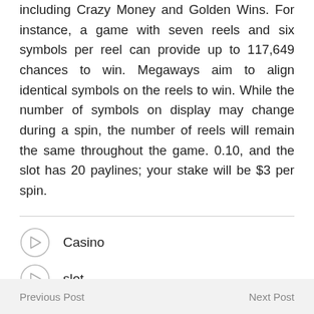including Crazy Money and Golden Wins. For instance, a game with seven reels and six symbols per reel can provide up to 117,649 chances to win. Megaways aim to align identical symbols on the reels to win. While the number of symbols on display may change during a spin, the number of reels will remain the same throughout the game. 0.10, and the slot has 20 paylines; your stake will be $3 per spin.
Casino
slot
Previous Post    Next Post